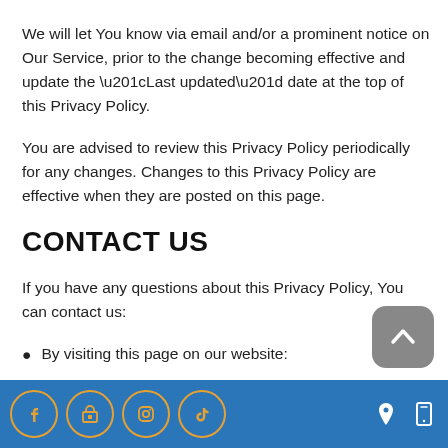We will let You know via email and/or a prominent notice on Our Service, prior to the change becoming effective and update the “Last updated” date at the top of this Privacy Policy.
You are advised to review this Privacy Policy periodically for any changes. Changes to this Privacy Policy are effective when they are posted on this page.
CONTACT US
If you have any questions about this Privacy Policy, You can contact us:
By visiting this page on our website:
Social media icons: Facebook, Google Business, Instagram, TikTok; Location and Phone icons